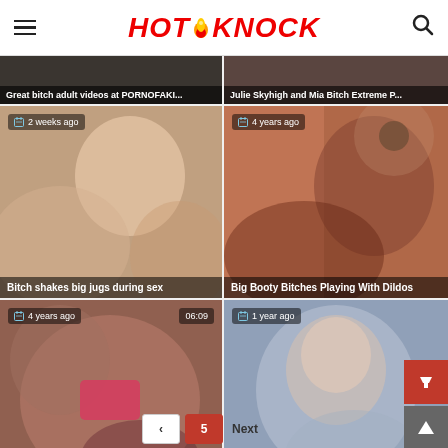HOT KNOCK
[Figure (screenshot): Video thumbnail banner: Great bitch adult videos at PORNOFAKI...]
[Figure (screenshot): Video thumbnail banner: Julie Skyhigh and Mia Bitch Extreme P...]
[Figure (photo): Video thumbnail: Bitch shakes big jugs during sex, 2 weeks ago]
[Figure (photo): Video thumbnail: Big Booty Bitches Playing With Dildos, 4 years ago]
[Figure (photo): Video thumbnail: Juicy euro bitches play with hard rod, 4 years ago, 06:09]
[Figure (photo): Video thumbnail: face fuck bitches, 1 year ago]